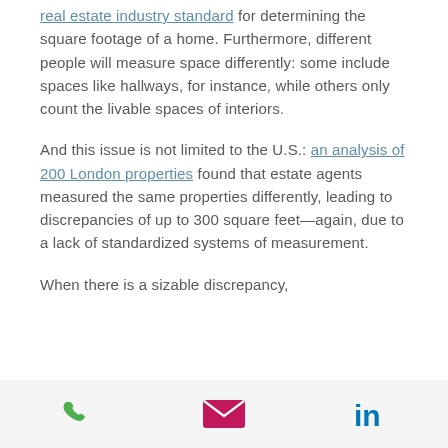real estate industry standard for determining the square footage of a home. Furthermore, different people will measure space differently: some include spaces like hallways, for instance, while others only count the livable spaces of interiors.
And this issue is not limited to the U.S.: an analysis of 200 London properties found that estate agents measured the same properties differently, leading to discrepancies of up to 300 square feet—again, due to a lack of standardized systems of measurement.
When there is a sizable discrepancy,
[Figure (other): Mobile footer bar with three icons: phone (green), email/envelope (pink/magenta), and LinkedIn (blue)]